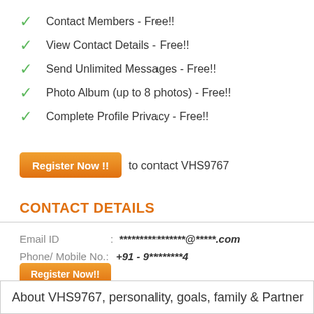Contact Members - Free!!
View Contact Details - Free!!
Send Unlimited Messages - Free!!
Photo Album (up to 8 photos) - Free!!
Complete Profile Privacy - Free!!
Register Now !! to contact VHS9767
CONTACT DETAILS
| Field | : | Value |
| --- | --- | --- |
| Email ID | : | ****************@*****.com |
| Phone/ Mobile No.: |  | +91 - 9********4 |
Register Now!! To View Mobile No/ Email ID & send a Message.
About VHS9767, personality, goals, family & Partner